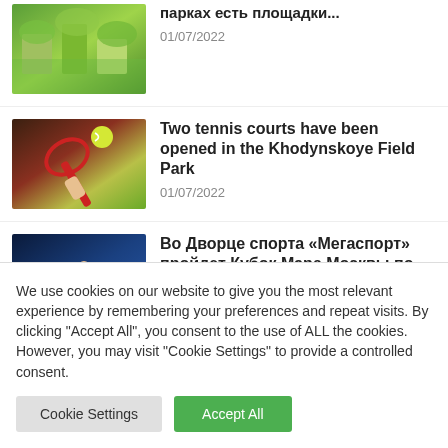[Figure (photo): Outdoor playground area with green trees, partial view]
парках есть площадки...
01/07/2022
[Figure (photo): Tennis player holding racket with yellow ball in foreground]
Two tennis courts have been opened in the Khodynskoye Field Park
01/07/2022
[Figure (photo): Ice hockey players on rink, players in red uniforms]
Во Дворце спорта «Мегаспорт» пройдет Кубок Мэра Москвы по хоккею
We use cookies on our website to give you the most relevant experience by remembering your preferences and repeat visits. By clicking "Accept All", you consent to the use of ALL the cookies. However, you may visit "Cookie Settings" to provide a controlled consent.